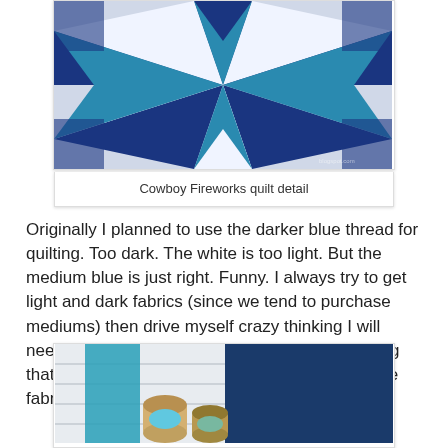[Figure (photo): Close-up detail of a Cowboy Fireworks quilt showing a geometric starburst pattern in dark blue, medium blue, teal, and white fabrics]
Cowboy Fireworks quilt detail
Originally I planned to use the darker blue thread for quilting. Too dark. The white is too light. But the medium blue is just right. Funny. I always try to get light and dark fabrics (since we tend to purchase mediums) then drive myself crazy thinking I will need to change threads frequently. But I'm finding that medium threads blend better across all those fabrics.
[Figure (photo): Close-up of quilted fabric showing teal/blue and white geometric quilting pattern with thread spools visible]